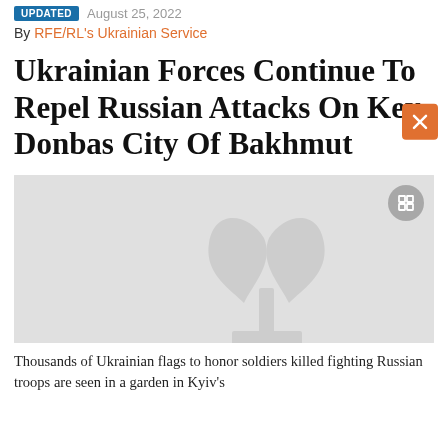UPDATED  August 25, 2022
By RFE/RL's Ukrainian Service
Ukrainian Forces Continue To Repel Russian Attacks On Key Donbas City Of Bakhmut
[Figure (photo): Loading placeholder image with RFE/RL watermark logo on gray background]
Thousands of Ukrainian flags to honor soldiers killed fighting Russian troops are seen in a garden in Kyiv's